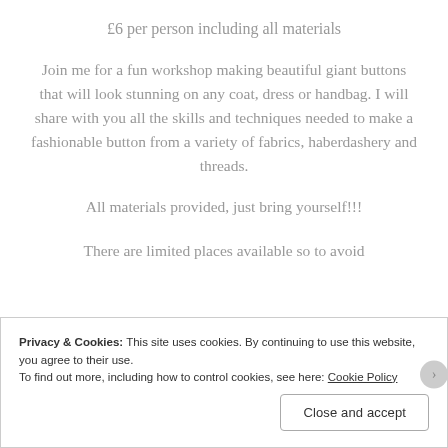£6 per person including all materials
Join me for a fun workshop making beautiful giant buttons that will look stunning on any coat, dress or handbag. I will share with you all the skills and techniques needed to make a fashionable button from a variety of fabrics, haberdashery and threads.
All materials provided, just bring yourself!!!
There are limited places available so to avoid
Privacy & Cookies: This site uses cookies. By continuing to use this website, you agree to their use.
To find out more, including how to control cookies, see here: Cookie Policy
Close and accept